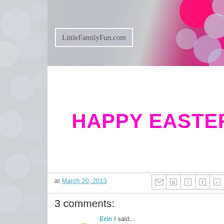[Figure (screenshot): Blog header image for LittleFamilyFun.com with bokeh Easter egg balls and site logo overlay]
HAPPY EASTE
at March 20, 2013
[Figure (infographic): Social share buttons: Email, Blogger, Twitter, Facebook, Pinterest]
3 comments:
Erin I said...
Great idea! Fun!
March 21, 2013 at 5:14 PM
Anonymous said...
Trying this today with my twin toddlers! Thanks for the fun Ea